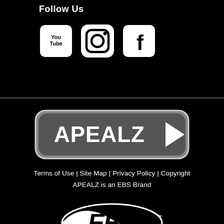Follow Us
[Figure (logo): Social media icons: YouTube, Instagram, Facebook]
[Figure (logo): APEALZ brand logo with rounded rectangle and arrow icon]
Terms of Use | Site Map | Privacy Policy | Copyright
APEALZ is an EBS Brand
[Figure (logo): EBS - Executive Board Sports logo in white on black background]